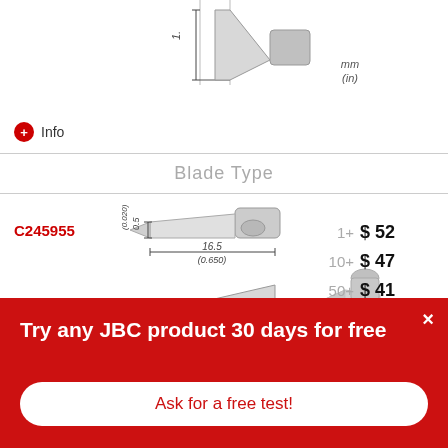[Figure (engineering-diagram): Top partial engineering diagram of a soldering tip (blade type) showing dimensional lines, partially cropped at top of page with mm/(in) label]
Info
Blade Type
C245955
[Figure (engineering-diagram): Engineering diagram of JBC C245955 blade type soldering tip showing dimensions: 0.5 (0.020), 16.5 (0.650), 13 (0.512) with 3D rendered image of the tip on the right, and mm/(in) unit label]
1+
$ 52
10+
$ 47
50+
$ 41
Try any JBC product 30 days for free
Ask for a free test!